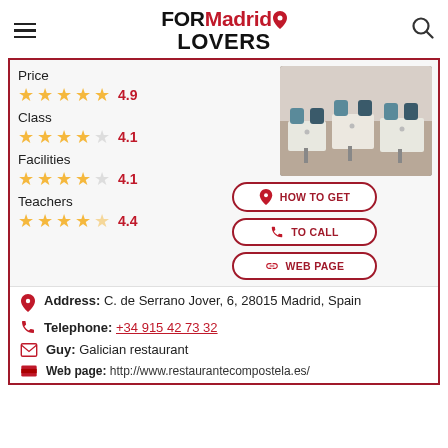FORMadrid LOVERS
Price 4.9
Class 4.1
Facilities 4.1
Teachers 4.4
[Figure (photo): Interior of a restaurant with white tablecloths and teal/dark chairs]
HOW TO GET
TO CALL
WEB PAGE
Address: C. de Serrano Jover, 6, 28015 Madrid, Spain
Telephone: +34 915 42 73 32
Guy: Galician restaurant
Web page: http://www.restaurantecompostela.es/